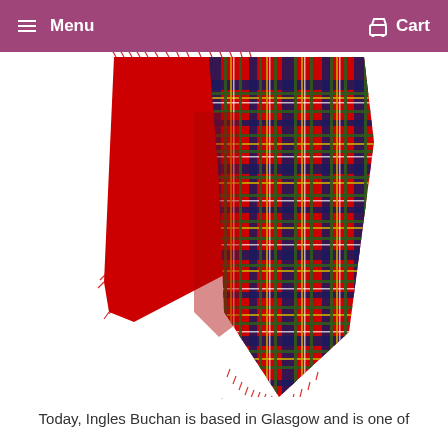Menu  Cart
[Figure (photo): A red tartan wool shawl or throw with Royal Stewart tartan pattern — red background with dark blue, green, yellow, and white plaid lines — displayed hanging, with fringed edges, against a white background.]
Today, Ingles Buchan is based in Glasgow and is one of